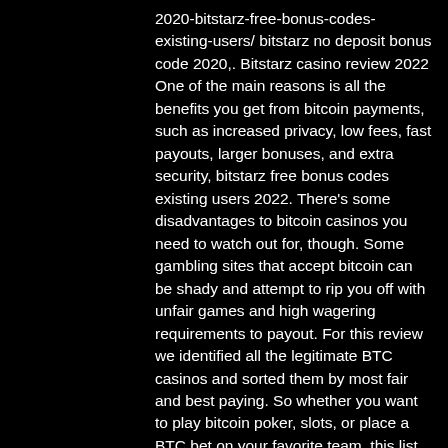2020-bitstarz-free-bonus-codes-existing-users/ bitstarz no deposit bonus code 2020,. Bitstarz casino review 2022
One of the main reasons is all the benefits you get from bitcoin payments, such as increased privacy, low fees, fast payouts, larger bonuses, and extra security, bitstarz free bonus codes existing users 2022. There's some disadvantages to bitcoin casinos you need to watch out for, though. Some gambling sites that accept bitcoin can be shady and attempt to rip you off with unfair games and high wagering requirements to payout. For this review we identified all the legitimate BTC casinos and sorted them by most fair and best paying. So whether you want to play bitcoin poker, slots, or place a BTC bet on your favorite team, this list has you covered.
Today's winners: